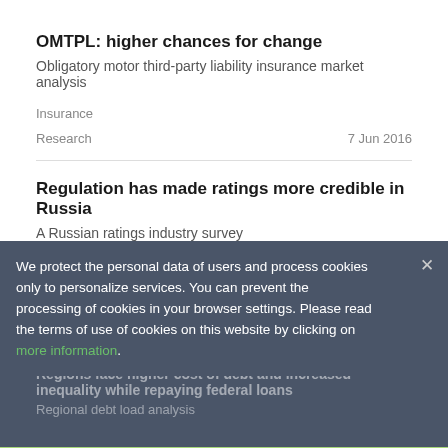OMTPL: higher chances for change
Obligatory motor third-party liability insurance market analysis
Insurance
Research                                        7 Jun 2016
Regulation has made ratings more credible in Russia
A Russian ratings industry survey
Other
We protect the personal data of users and process cookies only to personalize services. You can prevent the processing of cookies in your browser settings. Please read the terms of use of cookies on this website by clicking on more information.
Regions face higher cost of debt and increased inequality while repaying federal loans
Regional debt load analysis
Accept